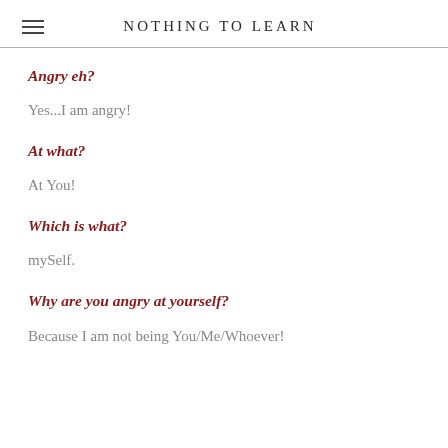NOTHING TO LEARN
Angry eh?
Yes...I am angry!
At what?
At You!
Which is what?
mySelf.
Why are you angry at yourself?
Because I am not being You/Me/Whoever!